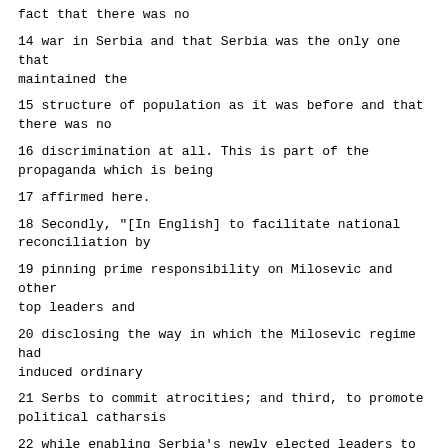fact that there was no
14 war in Serbia and that Serbia was the only one that maintained the
15 structure of population as it was before and that there was no
16 discrimination at all. This is part of the propaganda which is being
17 affirmed here.
18 Secondly, "[In English] to facilitate national reconciliation by
19 pinning prime responsibility on Milosevic and other top leaders and
20 disclosing the way in which the Milosevic regime had induced ordinary
21 Serbs to commit atrocities; and third, to promote political catharsis
22 while enabling Serbia's newly elected leaders to distance themselves from
23 the repressive policies of the past. May's decision to allow Milosevic to
24 represent himself has seriously undercut these